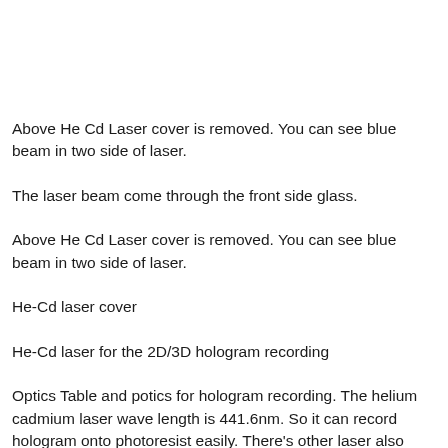Above He Cd Laser cover is removed. You can see blue beam in two side of laser.
The laser beam come through the front side glass.
Above He Cd Laser cover is removed. You can see blue beam in two side of laser.
He-Cd laser cover
He-Cd laser for the 2D/3D hologram recording
Optics Table and potics for hologram recording. The helium cadmium laser wave length is 441.6nm. So it can record hologram onto photoresist easily. There's other laser also